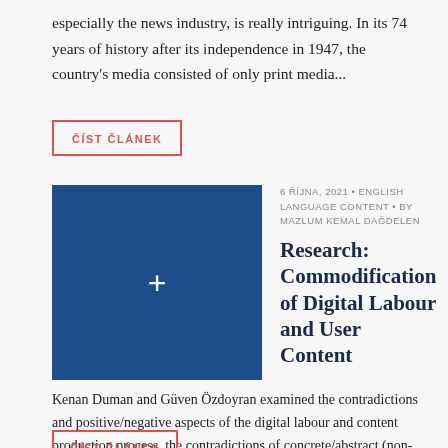especially the news industry, is really intriguing. In its 74 years of history after its independence in 1947, the country's media consisted of only print media...
ČÍST ČLÁNEK
[Figure (other): Blue square placeholder image with a white plus (+) icon in the center]
6 ŘÍJNA, 2021 • ENGLISH LANGUAGE CONTENT • BY MAZLUM KEMAL DAĞDELEN
Research: Commodification of Digital Labour and User Content
Kenan Duman and Güven Özdoyran examined the contradictions and positive/negative aspects of the digital labour and content production process, the contradictions of concrete/abstract (non-material commodities), and the nature of such...
ČÍST ČLÁNEK